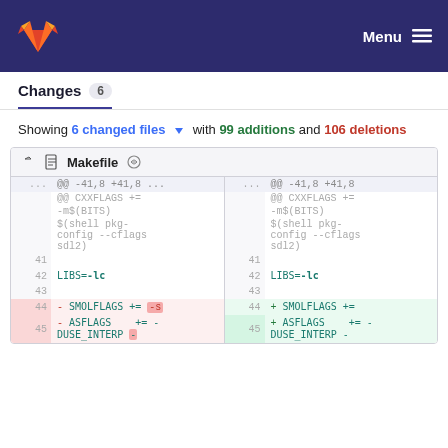GitLab Menu
Changes 6
Showing 6 changed files with 99 additions and 106 deletions
| old line | old code |  | new line | new code |
| --- | --- | --- | --- | --- |
| ... | @@ -41,8 +41,8 ... |  | ... | @@ -41,8 +41,8 |
|  | @@ CXXFLAGS += |  |  | @@ CXXFLAGS += |
|  | -m$(BITS) |  |  | -m$(BITS) |
|  | $(shell pkg-config --cflags sdl2) |  |  | $(shell pkg-config --cflags sdl2) |
| 41 |  |  | 41 |  |
| 42 | LIBS=-lc |  | 42 | LIBS=-lc |
| 43 |  |  | 43 |  |
| 44 | - SMOLFLAGS += -s |  | 44 | + SMOLFLAGS += |
| 45 | - ASFLAGS    += -DUSE_INTERP - |  | 45 | + ASFLAGS    += -DUSE_INTERP - |